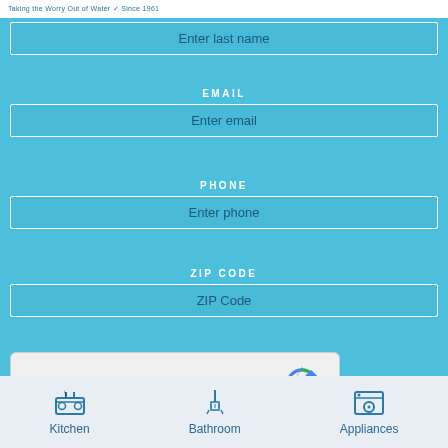Taking the Worry Out of Water · Since 1961
Enter last name
EMAIL
Enter email
PHONE
Enter phone
ZIP CODE
ZIP Code
[Figure (other): reCAPTCHA widget with checkbox labeled 'I'm not a robot']
Schedule My Free Water Test
Kitchen
Bathroom
Appliances